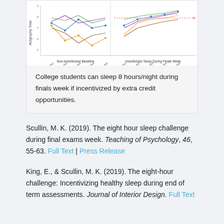[Figure (continuous-plot): Line chart showing actigraphy total sleep data for individual college students across nights. Left panel: Non-incentivized Baseline. Right panel: Incentivized Sleep During Finals Week. Multiple colored lines show individual trajectories across measurement nights.]
College students can sleep 8 hours/night during finals week if incentivized by extra credit opportunities.
Scullin, M. K. (2019). The eight hour sleep challenge during final exams week. Teaching of Psychology, 46, 55-63. Full Text | Press Release
King, E., & Scullin, M. K. (2019). The eight-hour challenge: Incentivizing healthy sleep during end of term assessments. Journal of Interior Design. Full Text